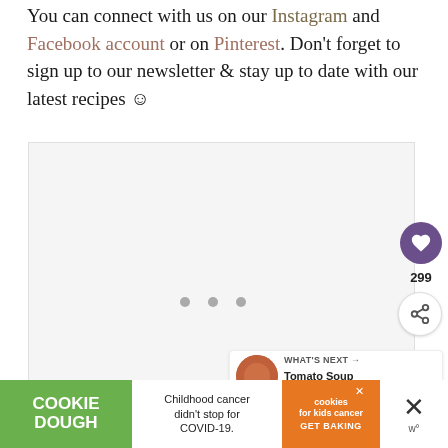You can connect with us on our Instagram and Facebook account or on Pinterest. Don't forget to sign up to our newsletter & stay up to date with our latest recipes ☺
[Figure (screenshot): Image carousel placeholder with navigation dots, heart/like button showing 299 likes, share button, and a 'What's Next' preview card for Tomato Soup from Fresh...]
[Figure (infographic): Cookie Dough advertisement banner: 'Childhood cancer didn't stop for COVID-19. GET BAKING' with cookies for kids cancer logo and a close button.]